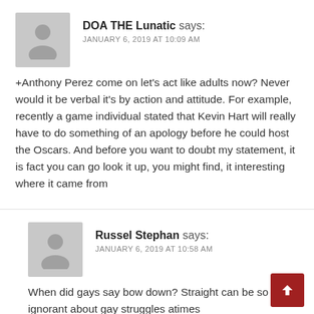DOA THE Lunatic says:
JANUARY 6, 2019 AT 10:09 AM
+Anthony Perez come on let’s act like adults now? Never would it be verbal it’s by action and attitude. For example, recently a game individual stated that Kevin Hart will really have to do something of an apology before he could host the Oscars. And before you want to doubt my statement, it is fact you can go look it up, you might find, it interesting where it came from
Russel Stephan says:
JANUARY 6, 2019 AT 10:58 AM
When did gays say bow down? Straight can be so ignorant about gay struggles atimes